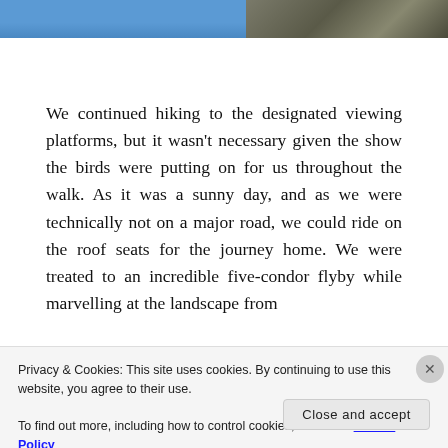[Figure (photo): Two partial photos at the top: left showing blue sky, right showing rocky mountain landscape]
We continued hiking to the designated viewing platforms, but it wasn't necessary given the show the birds were putting on for us throughout the walk. As it was a sunny day, and as we were technically not on a major road, we could ride on the roof seats for the journey home. We were treated to an incredible five-condor flyby while marvelling at the landscape from
Privacy & Cookies: This site uses cookies. By continuing to use this website, you agree to their use.
To find out more, including how to control cookies, see here: Cookie Policy
Close and accept